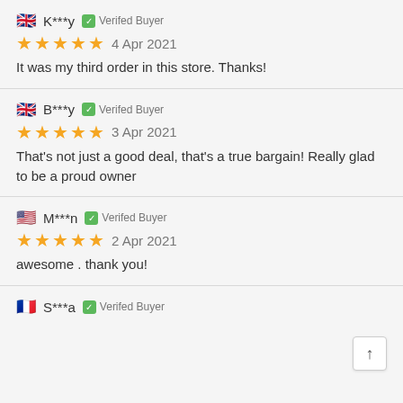🇬🇧 K***y ✅ Verifed Buyer
★★★★★  4 Apr 2021
It was my third order in this store. Thanks!
🇬🇧 B***y ✅ Verifed Buyer
★★★★★  3 Apr 2021
That's not just a good deal, that's a true bargain! Really glad to be a proud owner
🇺🇸 M***n ✅ Verifed Buyer
★★★★★  2 Apr 2021
awesome . thank you!
🇫🇷 S***a ✅ Verifed Buyer